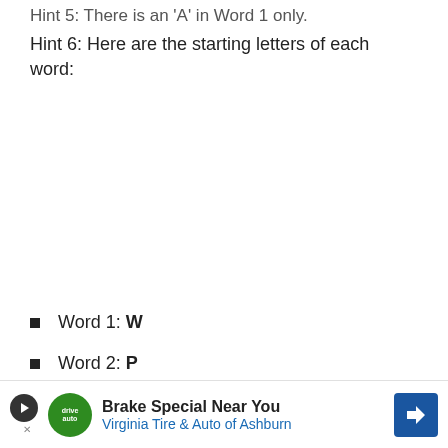Hint 5: There is an 'A' in Word 1 only.
Hint 6: Here are the starting letters of each word:
Word 1: W
Word 2: P
Word 3: C
Word 4: (faded/obscured)
[Figure (other): Advertisement banner: Brake Special Near You - Virginia Tire & Auto of Ashburn, with drivetauto logo and navigation arrow icon]